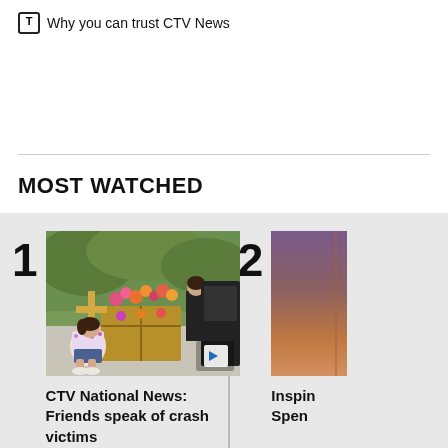Why you can trust CTV News
MOST WATCHED
[Figure (photo): A young woman crouching and placing flowers at a roadside memorial cross, with another person standing behind her, flowers and a wooden crate visible.]
CTV National News: Friends speak of crash victims
[Figure (photo): Partially visible image with purple-brown and orange gradient tones, cropped on the right side of the page.]
Inspin Spen